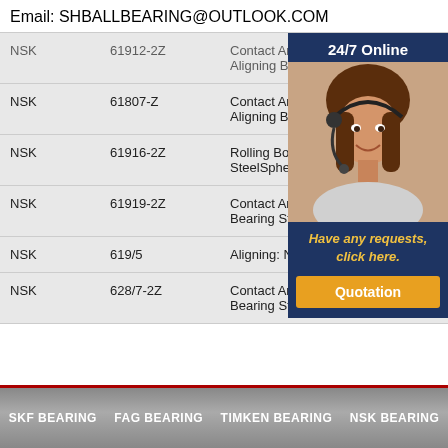Email: SHBALLBEARING@OUTLOOK.COM
| Brand | Model | Description |
| --- | --- | --- |
| NSK | 61912-2Z | Contact Angle: 0Aligning: Non Aligning Bearing Steel |
| NSK | 61807-Z | Contact Angle: 1Aligning: Non Aligning Bearing Steel |
| NSK | 61916-2Z | Rolling Body: Ball Bearing SteelSpherical: Non Aligning |
| NSK | 61919-2Z | Contact Angle: 0°Aligning: Bearing Steel |
| NSK | 619/5 | Aligning: Non Aligning Bearing |
| NSK | 628/7-2Z | Contact Angle: 25°Aligning: Bearing Steel |
[Figure (infographic): 24/7 Online customer service widget with photo of woman with headset, 'Have any requests, click here.' text and Quotation button]
SKF BEARING   FAG BEARING   TIMKEN BEARING   NSK BEARING